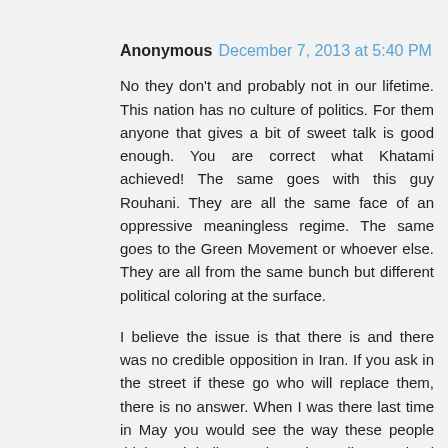Anonymous December 7, 2013 at 5:40 PM
No they don't and probably not in our lifetime. This nation has no culture of politics. For them anyone that gives a bit of sweet talk is good enough. You are correct what Khatami achieved! The same goes with this guy Rouhani. They are all the same face of an oppressive meaningless regime. The same goes to the Green Movement or whoever else. They are all from the same bunch but different political coloring at the surface.
I believe the issue is that there is and there was no credible opposition in Iran. If you ask in the street if these go who will replace them, there is no answer. When I was there last time in May you would see the way these people think and believe. There is really no plural thinking. All they believe is mardom parasti. Whether it is a Shah or another religious idiot it does not really matter. Rahbar knows it all and everyone else (that is 70